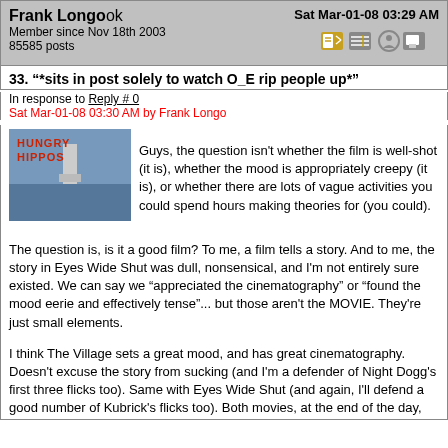Frank Longo ok — Member since Nov 18th 2003 — 85585 posts — Sat Mar-01-08 03:29 AM
33. "*sits in post solely to watch O_E rip people up*"
In response to Reply # 0
Sat Mar-01-08 03:30 AM by Frank Longo
[Figure (photo): Hungry Hippos movie poster thumbnail]
Guys, the question isn't whether the film is well-shot (it is), whether the mood is appropriately creepy (it is), or whether there are lots of vague activities you could spend hours making theories for (you could).

The question is, is it a good film? To me, a film tells a story. And to me, the story in Eyes Wide Shut was dull, nonsensical, and I'm not entirely sure existed. We can say we "appreciated the cinematography" or "found the mood eerie and effectively tense"... but those aren't the MOVIE. They're just small elements.

I think The Village sets a great mood, and has great cinematography. Doesn't excuse the story from sucking (and I'm a defender of Night Dogg's first three flicks too). Same with Eyes Wide Shut (and again, I'll defend a good number of Kubrick's flicks too). Both movies, at the end of the day, aren't good. I don't care what you think the films' endings say about society or whatever cockamamie nonsense plea you're ready to strike.

Eyes Wide Shut, to me, is The Village, with fewer monsters, fewer disabilities, and more titties.

For beer lovers: http://thebeertravelguide.com
For movie lovers: http://russellhainline.com